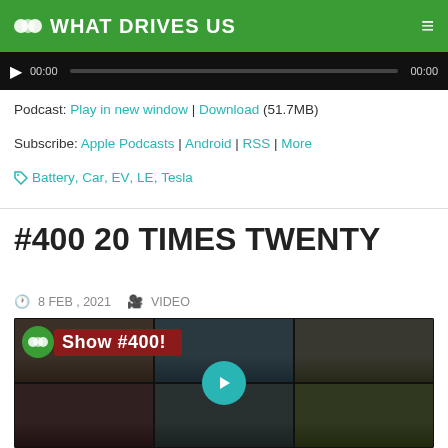🎨 WHAT DRIVES US
Podcast: Play in new window | Download (51.7MB)
Subscribe: Apple Podcasts | Android | RSS | More
🏷 Battery, Car, EV, LE, Tesla
#400 20 TIMES TWENTY
🕐 8 FEB , 2021  🎥 VIDEO
[Figure (screenshot): Video thumbnail showing a grid of video call participants with 'Show #400!' banner overlay and a teal play button in the center]